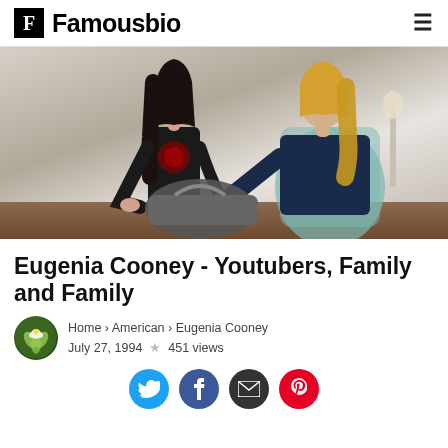Famousbio
[Figure (photo): Two women, one with long dark hair in a black t-shirt and one with blonde hair in a dark top, looking at a bag together in a light-colored indoor setting.]
Eugenia Cooney - Youtubers, Family and Family
Home › American › Eugenia Cooney
July 27, 1994 ★ 451 views